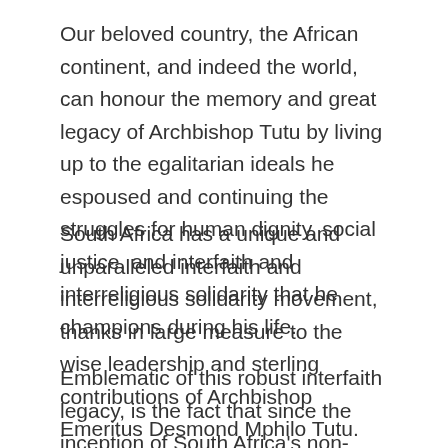Our beloved country, the African continent, and indeed the world, can honour the memory and great legacy of Archbishop Tutu by living up to the egalitarian ideals he espoused and continuing the struggles for human dignity, social justice, and interfaith and interreligious solidarity that he champions during his life.
South Africa has a unique and unparalleled interfaith and interreligious solidarity movement, thanks in large measure to the wise leadership and sterling contributions of Archbishop Emeritus Desmond Mphilo Tutu.
Emblematic of this robust interfaith legacy, is the fact that since the inception of South Africa's non-racial and democratic parliament in 1994, its proceedings have consistently been inaugurated by interfaith...